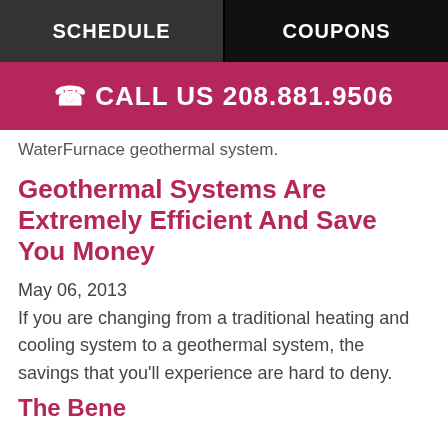SCHEDULE | COUPONS
CALL US 208.881.9506
WaterFurnace geothermal system.
Geothermal Systems Are Extremely Efficient And Save You Money
May 06, 2013
If you are changing from a traditional heating and cooling system to a geothermal system, the savings that you'll experience are hard to deny.
The Benefits of Geothermal Systems